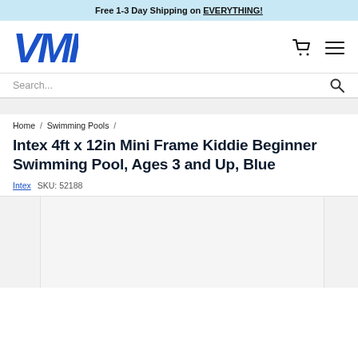Free 1-3 Day Shipping on EVERYTHING!
[Figure (logo): VMI logo in bold blue italic text]
Search...
Home / Swimming Pools /
Intex 4ft x 12in Mini Frame Kiddie Beginner Swimming Pool, Ages 3 and Up, Blue
Intex   SKU: 52188
[Figure (photo): Product image area showing light gray placeholder area with image thumbnails on sides]